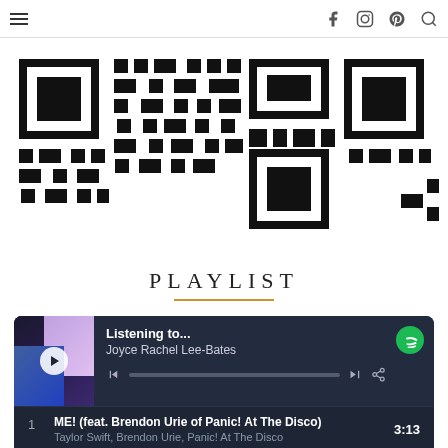Navigation bar with hamburger menu and social icons (Facebook, Instagram, Pinterest, Search)
[Figure (other): QR code in black and white, partially cropped, large decorative display at top of page]
PLAYLIST
[Figure (screenshot): Spotify embedded playlist widget showing 'Listening to... Joyce Rachel Lee-Bates' with album art, playback controls, and track list: 1. ME! (feat. Brendon Urie of Panic! At The Disco) - Taylor Swift, Brendon Urie, Panic! At The Disco 3:13; 2. Victory - Two Steps from Hell, Thomas Bergersen; 3. Like My Father 3:03]